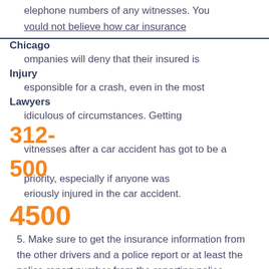elephone numbers of any witnesses.  You
vould not believe how car insurance
Chicago
ompanies will deny that their insured is
Injury
esponsible for a crash, even in the most
Lawyers
idiculous of circumstances.  Getting
312-
vitnesses after a car accident has got to be a
500
priority, especially if anyone was
eriously injured in the car accident.
4500
5.  Make sure to get the insurance information from the other drivers and a police report or at least the police report number from the reporting police department.
6.  If you are hurt, make sure that you are at